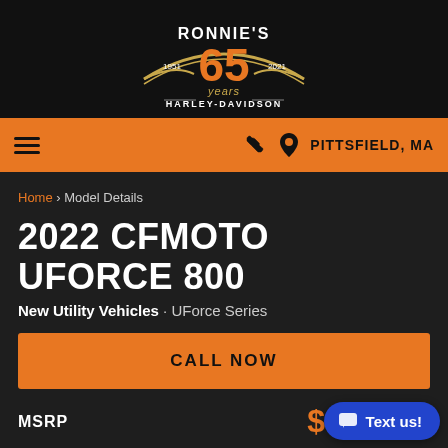[Figure (logo): Ronnie's 65 Years Harley-Davidson logo, with orange 65 numerals, gold arc, and text '1951 2021 HARLEY-DAVIDSON']
☰  📞 📍 PITTSFIELD, MA
Home › Model Details
2022 CFMOTO UFORCE 800
New Utility Vehicles · UForce Series
CALL NOW
MSRP  $11,399
REQUEST MORE INFORMATION